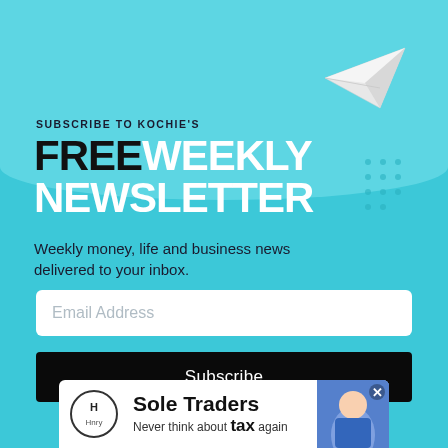SUBSCRIBE TO KOCHIE'S
FREE WEEKLY NEWSLETTER
Weekly money, life and business news delivered to your inbox.
[Figure (illustration): Paper airplane icon on teal background]
[Figure (infographic): Email address input field with placeholder text 'Email Address']
[Figure (infographic): Black Subscribe button]
[Figure (infographic): Advertisement banner for Sole Traders by Hnry: 'Never think about tax again' with woman photo and close button]